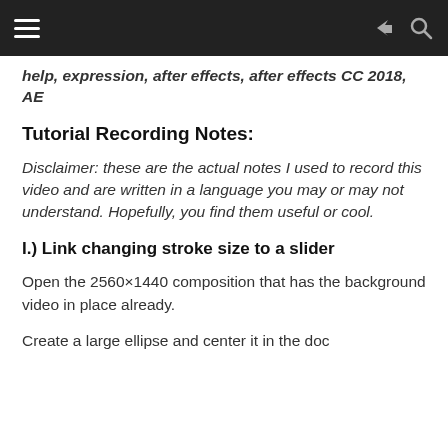help, expression, after effects, after effects CC 2018, AE
Tutorial Recording Notes:
Disclaimer: these are the actual notes I used to record this video and are written in a language you may or may not understand. Hopefully, you find them useful or cool.
I.) Link changing stroke size to a slider
Open the 2560×1440 composition that has the background video in place already.
Create a large ellipse and center it in the doc